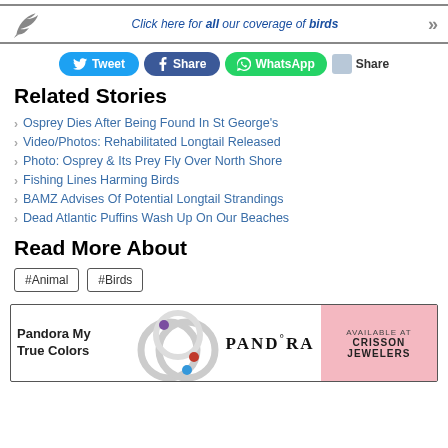Click here for all our coverage of birds
[Figure (infographic): Social sharing buttons: Tweet, Share (Facebook), WhatsApp, Share]
Related Stories
Osprey Dies After Being Found In St George's
Video/Photos: Rehabilitated Longtail Released
Photo: Osprey & Its Prey Fly Over North Shore
Fishing Lines Harming Birds
BAMZ Advises Of Potential Longtail Strandings
Dead Atlantic Puffins Wash Up On Our Beaches
Read More About
#Animal  #Birds
[Figure (infographic): Pandora My True Colors advertisement banner with rings image, PANDORA logo, and AVAILABLE AT CRISSON JEWELERS on pink background]